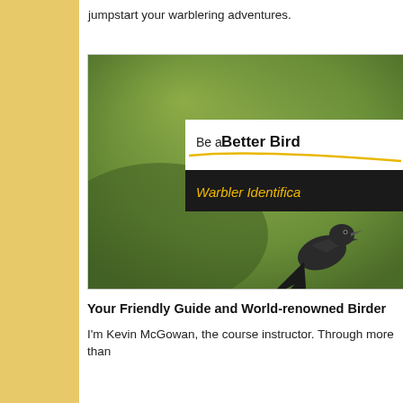jumpstart your warblering adventures.
[Figure (photo): A book or course cover image showing a bird on a green background with overlaid text 'Be a Better Bird' in a white banner and 'Warbler Identifica...' in a black banner with yellow text.]
Your Friendly Guide and World-renowned Birder
I'm Kevin McGowan, the course instructor. Through more than ...